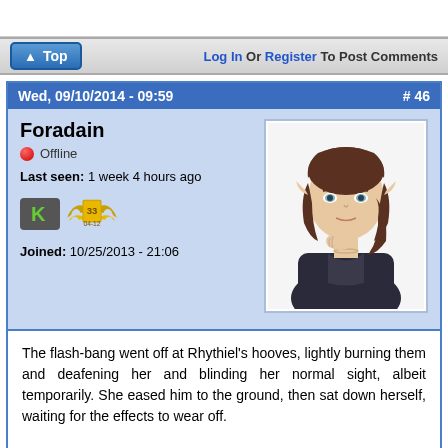Top   Log In Or Register To Post Comments
Wed, 09/10/2014 - 09:59   #46
Foradain
Offline
Last seen: 1 week 4 hours ago
Joined: 10/25/2013 - 21:06
[Figure (illustration): Anime-style illustration of an elf character with brown hair, pointed ears, wearing a dark jacket, hand on chin in a thoughtful pose]
The flash-bang went off at Rhythiel's hooves, lightly burning them and deafening her and blinding her normal sight, albeit temporarily. She eased him to the ground, then sat down herself, waiting for the effects to wear off.
—
Foradain, Mage of Phoenix Rising.